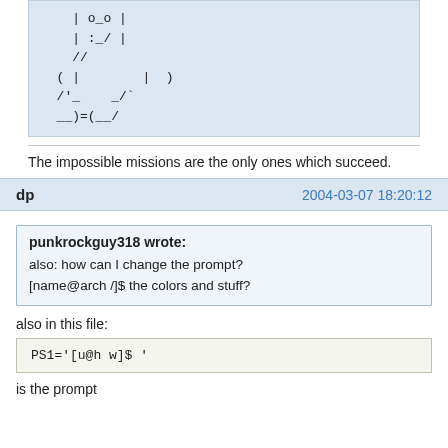[Figure (other): ASCII art of a figure (robot/creature) made with text characters: | o_o |, | :_/ |, //, ( |   | ), /'_  _/`, __)=(__/]
The impossible missions are the only ones which succeed.
dp   2004-03-07 18:20:12
punkrockguy318 wrote:
also:  how can I change the prompt?
[name@arch /]$  the colors and stuff?
also in this file:
PS1='[u@h w]$ '
is the prompt